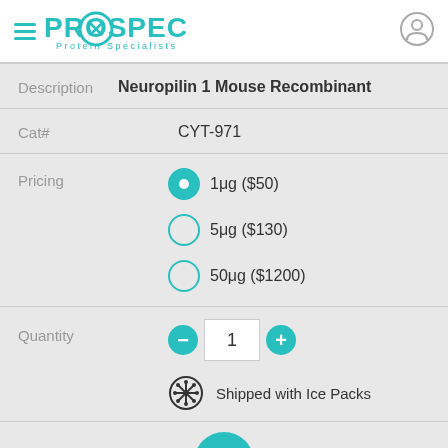[Figure (logo): ProSpec Protein Specialists logo with hamburger menu icon and user account icon]
| Description | Neuropilin 1 Mouse Recombinant |
| Cat# | CYT-971 |
| Pricing | 1μg ($50) [selected], 5μg ($130), 50μg ($1200) |
| Quantity | 1, Shipped with Ice Packs |
Shipped with Ice Packs
BACK TO TOP